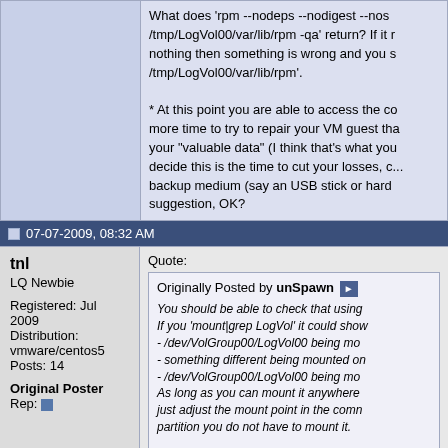What does 'rpm --nodeps --nodigest --nosignature --root /tmp/LogVol00/var/lib/rpm -qa' return? If it returns nothing then something is wrong and you should check /tmp/LogVol00/var/lib/rpm'.

* At this point you are able to access the co... more time to try to repair your VM guest th... your "valuable data" (I think that's what you... decide this is the time to cut your losses, c... backup medium (say an USB stick or hard... suggestion, OK?
07-07-2009, 08:32 AM
tnl
LQ Newbie

Registered: Jul 2009
Distribution: vmware/centos5
Posts: 14

Original Poster
Rep:
Quote:

Originally Posted by unSpawn
You should be able to check that using... If you 'mount|grep LogVol' it could show... - /dev/VolGroup00/LogVol00 being mo... - something different being mounted on... - /dev/VolGroup00/LogVol00 being mo... As long as you can mount it anywhere... just adjust the mount point in the comm... partition you do not have to mount it.

What does 'rpm --nodeps --nodigest --n... /tmp/LogVol00/var/lib/rpm -qa' return? shows nothing then something is wrong... /tmp/LogVol00/var/lib/rpm'.